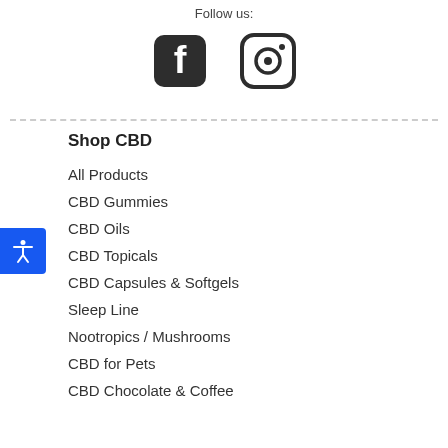Follow us:
[Figure (infographic): Facebook and Instagram social media icons (rounded square Facebook logo and circle Instagram camera logo)]
Shop CBD
All Products
CBD Gummies
CBD Oils
CBD Topicals
CBD Capsules & Softgels
Sleep Line
Nootropics / Mushrooms
CBD for Pets
CBD Chocolate & Coffee